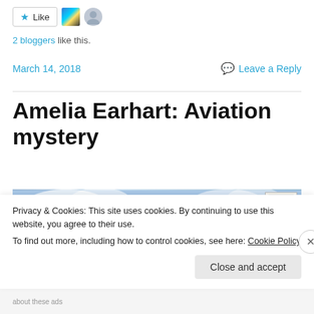[Figure (other): Like button with star icon, two avatar thumbnails (flag avatar and person silhouette avatar)]
2 bloggers like this.
March 14, 2018   Leave a Reply
Amelia Earhart: Aviation mystery
[Figure (photo): Blog post header image showing globe/map in blue sky, with a vintage US postage stamp in upper right corner showing Liberty Bell]
Privacy & Cookies: This site uses cookies. By continuing to use this website, you agree to their use.
To find out more, including how to control cookies, see here: Cookie Policy
Close and accept